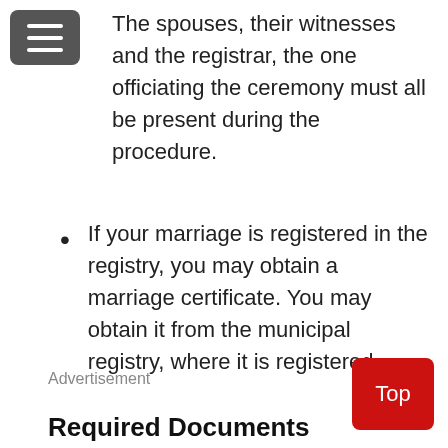The spouses, their witnesses and the registrar, the one officiating the ceremony must all be present during the procedure.
If your marriage is registered in the registry, you may obtain a marriage certificate. You may obtain it from the municipal registry, where it is registered.
Advertisement
Required Documents